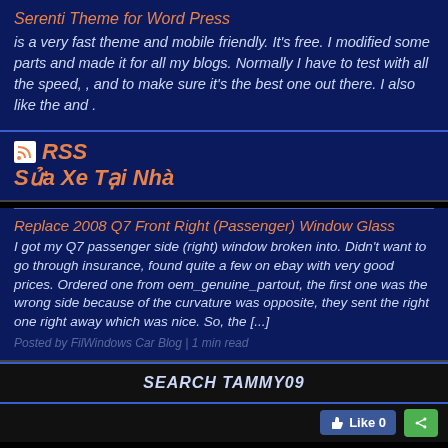Serenti Theme for Word Press
is a very fast theme and mobile friendly. It's free. I modified some parts and made it for all my blogs. Normally I have to test with all the speed, , and to make sure it's the best one out there. I also like the and .
RSS Sửa Xe Tại Nhà
Replace 2008 Q7 Front Right (Passenger) Window Glass
I got my Q7 passenger side (right) window broken into. Didn't want to go through insurance, found quite a few on ebay with very good prices. Ordered one from oem_genuine_partout, the first one was the wrong side because of the curvature was opposite, they sent the right one right away which was nice. So, the [...]
SEARCH TAMMY09